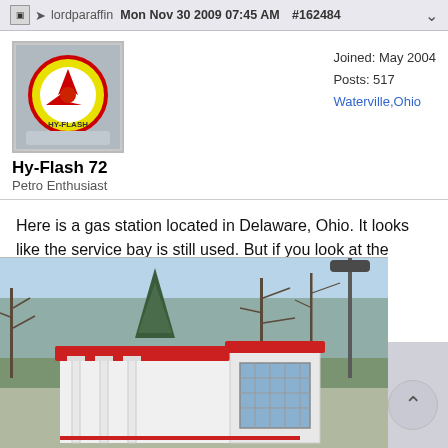lordparaffin  Mon Nov 30 2009 07:45 AM  #162484
Hy-Flash 72
Petro Enthusiast
Joined: May 2004
Posts: 517
Waterville,Ohio
Here is a gas station located in Delaware, Ohio. It looks like the service bay is still used. But if you look at the pump island it has not had pumps on it for years.

I wonder what brand of gas it was?
[Figure (photo): Photo of an old gas station building in Delaware, Ohio with a red tiled roof, white columns, and a service bay. Bare winter trees and a street light visible in the background.]